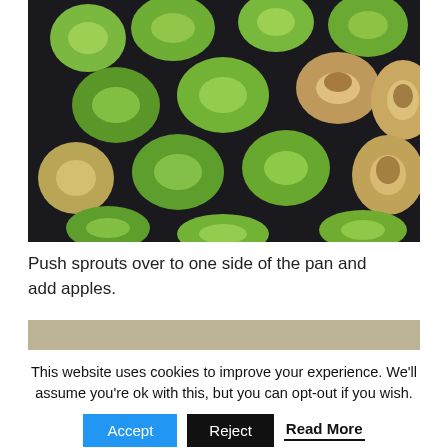[Figure (photo): Overhead close-up of halved roasted Brussels sprouts on a dark baking pan, showing green and lightly browned cut sides.]
Push sprouts over to one side of the pan and add apples.
[Figure (photo): Partially visible next photo below the caption text.]
This website uses cookies to improve your experience. We'll assume you're ok with this, but you can opt-out if you wish.
Accept  Reject  Read More